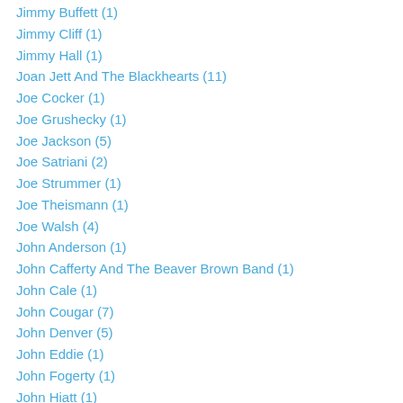Jimmy Buffett (1)
Jimmy Cliff (1)
Jimmy Hall (1)
Joan Jett And The Blackhearts (11)
Joe Cocker (1)
Joe Grushecky (1)
Joe Jackson (5)
Joe Satriani (2)
Joe Strummer (1)
Joe Theismann (1)
Joe Walsh (4)
John Anderson (1)
John Cafferty And The Beaver Brown Band (1)
John Cale (1)
John Cougar (7)
John Denver (5)
John Eddie (1)
John Fogerty (1)
John Hiatt (1)
John Hughes (1)